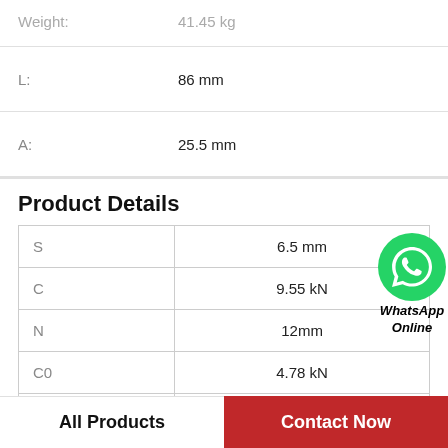| Property | Value |
| --- | --- |
| Weight: | 41.45 kg |
| L: | 86 mm |
| A: | 25.5 mm |
Product Details
| Property | Value |
| --- | --- |
| S | 6.5 mm |
| C | 9.55 kN |
| N | 12mm |
| C0 | 4.78 kN |
| Designation of bearing | ES202G2 |
WhatsApp Online
All Products   Contact Now